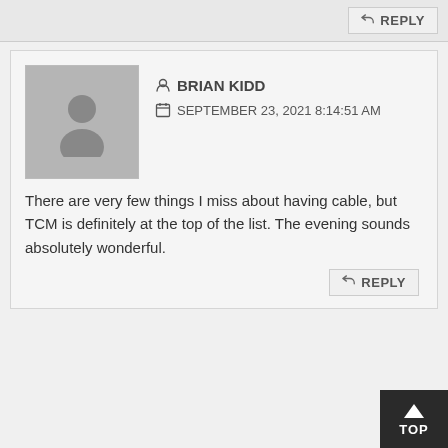[Figure (other): Reply button bar at top of page]
[Figure (other): Avatar placeholder image for Brian Kidd comment]
BRIAN KIDD
SEPTEMBER 23, 2021 8:14:51 AM
There are very few things I miss about having cable, but TCM is definitely at the top of the list. The evening sounds absolutely wonderful.
REPLY
[Figure (other): Avatar placeholder image for Jerald comment]
JERALD
OCTOBER 02, 2021 4:25:05 PM
FYI: How to watch TCM without cable: https://www.groundedreason.com/how-to-watch-tcm-online-without-cable/#:~:text=Currently%2C%20Hulu%20Live%20TV